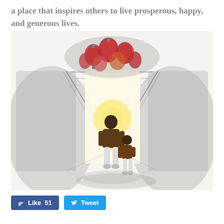a place that inspires others to live prosperous, happy, and generous lives.
[Figure (illustration): Watercolor illustration of an adult and a child viewed from behind, walking hand-in-hand through a doorway or corridor towards a bright warm light. Red lanterns and flowers hang above at the top of the passage. The surrounding walls are rendered in grey ink wash tones.]
Like 51   Tweet